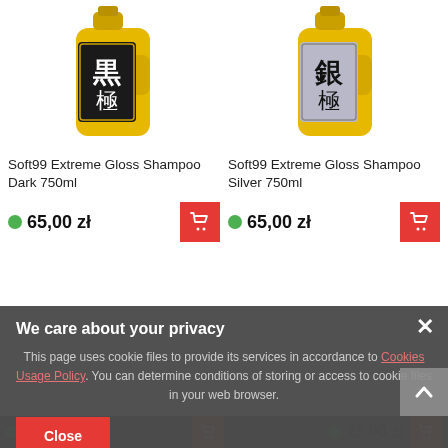[Figure (photo): Soft99 Extreme Gloss Shampoo Dark 750ml product bottle - yellow bottle with black label showing Japanese characters]
[Figure (photo): Soft99 Extreme Gloss Shampoo Silver 750ml product bottle - yellow bottle with silver label showing Japanese characters]
Soft99 Extreme Gloss Shampoo Dark 750ml
Soft99 Extreme Gloss Shampoo Silver 750ml
65,00 zł
65,00 zł
We care about your privacy
This page uses cookie files to provide its services in accordance to Cookies Usage Policy. You can determine conditions of storing or access to cookie files in your web browser.
Close
32,00 zł
29,00 zł